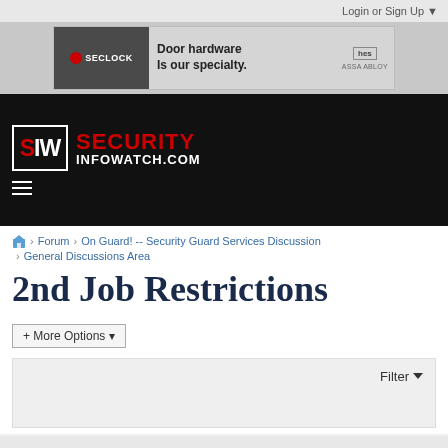Login or Sign Up ▼
[Figure (photo): SECLOCK advertisement banner: Door hardware is our specialty. Features HES and ASSA ABLOY logos.]
[Figure (logo): Security InfoWatch (SIW) logo on black navigation bar with hamburger menu icon]
Forum > On Guard! -- Security Guard Services Discussion > General Discussions Area
2nd Job Restrictions
+ More Options ▾
Filter ▼